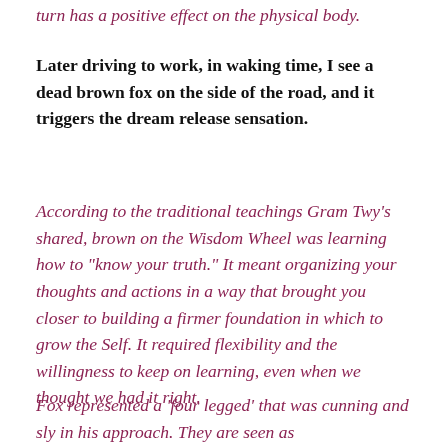turn has a positive effect on the physical body.
Later driving to work, in waking time, I see a dead brown fox on the side of the road, and it triggers the dream release sensation.
According to the traditional teachings Gram Twy’s shared, brown on the Wisdom Wheel was learning how to “know your truth.” It meant organizing your thoughts and actions in a way that brought you closer to building a firmer foundation in which to grow the Self. It required flexibility and the willingness to keep on learning, even when we thought we had it right.
Fox represented a ‘four legged’ that was cunning and sly in his approach. They are seen as